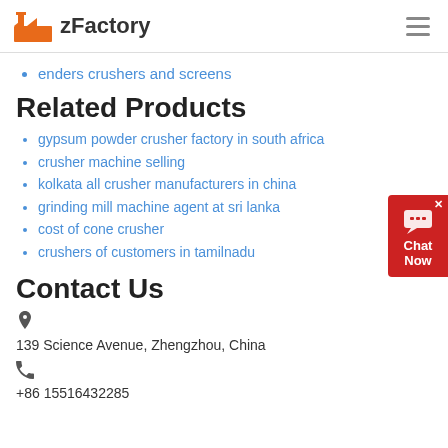zFactory
enders crushers and screens
Related Products
gypsum powder crusher factory in south africa
crusher machine selling
kolkata all crusher manufacturers in china
grinding mill machine agent at sri lanka
cost of cone crusher
crushers of customers in tamilnadu
Contact Us
139 Science Avenue, Zhengzhou, China
+86 15516432285